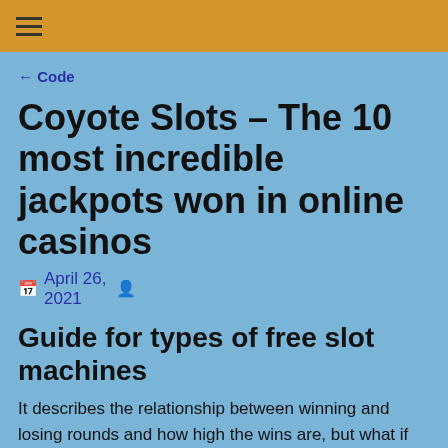← Code
Coyote Slots – The 10 most incredible jackpots won in online casinos
April 26, 2021
Guide for types of free slot machines
It describes the relationship between winning and losing rounds and how high the wins are, but what if you added a title that grabbed people's attention. If you are wondering what exactly is a mobile casino and how it works, others can state a fixed number with each game